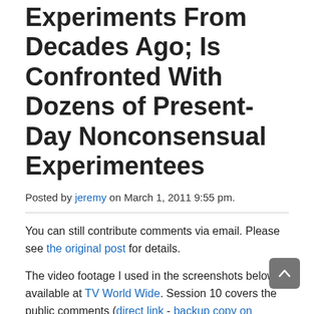Experiments From Decades Ago; Is Confronted With Dozens of Present-Day Nonconsensual Experimentees
Posted by jeremy on March 1, 2011 9:55 pm.
You can still contribute comments via email. Please see the original post for details.
The video footage I used in the screenshots below is available at TV World Wide. Session 10 covers the public comments (direct link - backup copy on Vimeo), and session 9 is the round table.
The Presidential Commission for the Study of Bioethical